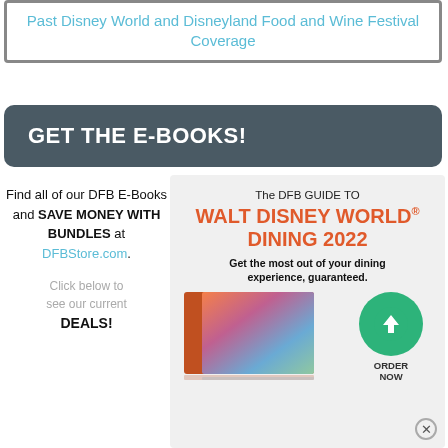Past Disney World and Disneyland Food and Wine Festival Coverage
GET THE E-BOOKS!
Find all of our DFB E-Books and SAVE MONEY WITH BUNDLES at DFBStore.com.
[Figure (illustration): DFB Guide to Walt Disney World Dining 2022 book cover with download button and order now circle badge]
Click below to see our current DEALS!